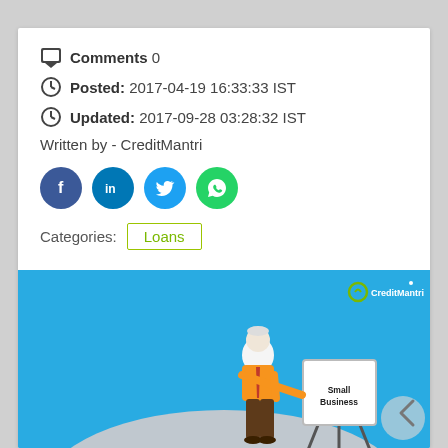Comments 0
Posted: 2017-04-19 16:33:33 IST
Updated: 2017-09-28 03:28:32 IST
Written by - CreditMantri
[Figure (infographic): Social share buttons: Facebook, LinkedIn, Twitter, WhatsApp]
Categories: Loans
[Figure (illustration): CreditMantri illustration: a person in orange shirt presenting at a whiteboard labeled 'Small Business', on a blue background with CreditMantri logo]